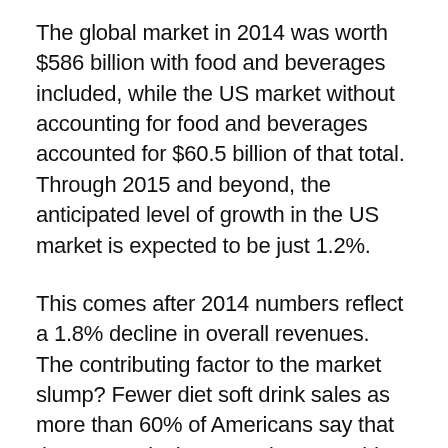The global market in 2014 was worth $586 billion with food and beverages included, while the US market without accounting for food and beverages accounted for $60.5 billion of that total. Through 2015 and beyond, the anticipated level of growth in the US market is expected to be just 1.2%.
This comes after 2014 numbers reflect a 1.8% decline in overall revenues. The contributing factor to the market slump? Fewer diet soft drink sales as more than 60% of Americans say that they are actively attempting to avoid soda whenever possible.
Other Factors Also Contribute to US